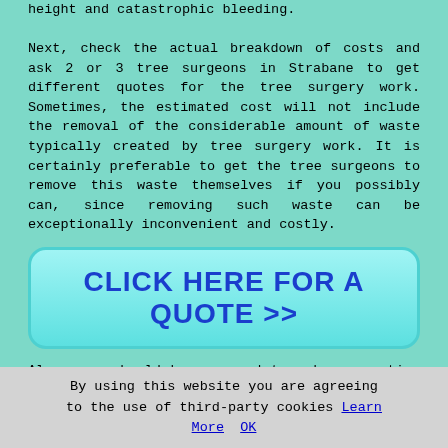height and catastrophic bleeding.

Next, check the actual breakdown of costs and ask 2 or 3 tree surgeons in Strabane to get different quotes for the tree surgery work. Sometimes, the estimated cost will not include the removal of the considerable amount of waste typically created by tree surgery work. It is certainly preferable to get the tree surgeons to remove this waste themselves if you possibly can, since removing such waste can be exceptionally inconvenient and costly.
[Figure (other): Cyan rounded button with text CLICK HERE FOR A QUOTE >>]
Also, you should be prepared to ask prospective Strabane tree surgeons lots of key questions when you speak to them. For instance, you need to establish who is going to be doing the work. Will it involve one person on their own, or will it be a crew of workers? Is it possible to meet up with them in advance? Will my home or my neighbours be impacted by the work? Precisely how long is the work going to take? What methods of tree removal or surgery is going to be used on your tree?
By using this website you are agreeing to the use of third-party cookies Learn More  OK